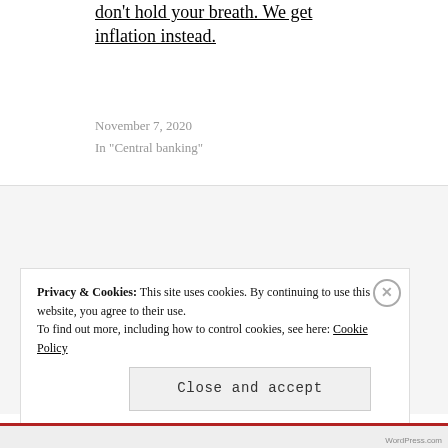don't hold your breath. We get inflation instead.
November 7, 2020
In "Central banking"
[Figure (other): Navigation buttons: a black circular button with right arrow (next) and a black circular button with left arrow (previous)]
Privacy & Cookies: This site uses cookies. By continuing to use this website, you agree to their use. To find out more, including how to control cookies, see here: Cookie Policy
Close and accept